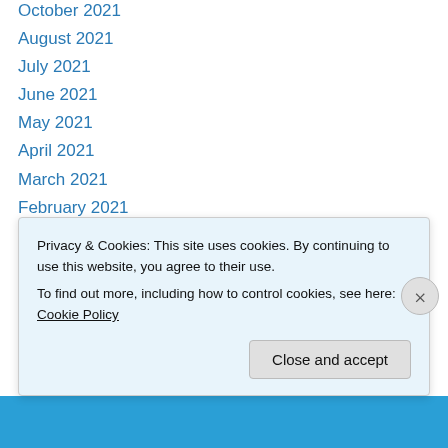October 2021
August 2021
July 2021
June 2021
May 2021
April 2021
March 2021
February 2021
January 2021
December 2020
November 2020
October 2020
September 2020
August 2020
Privacy & Cookies: This site uses cookies. By continuing to use this website, you agree to their use.
To find out more, including how to control cookies, see here: Cookie Policy